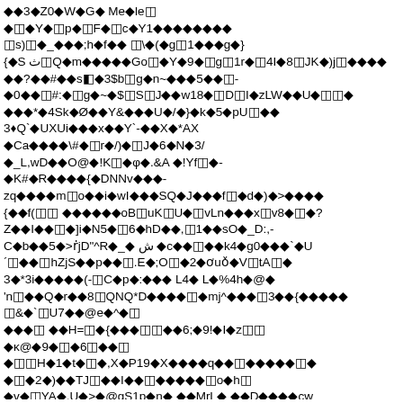◆◆3◆Z0◆W◆G◆ Me◆le◫
◆◫◆Y◆◫p◆◫F◆◫c◆Y1◆◆◆◆◆◆◆◆
◫s)◫◆_◆◆◆;h◆f◆◆ ◫\◆(◆g◫1◆◆◆g◆}
{◆S ث◫Q◆m◆◆◆◆◆Go◫◆Y◆9◆◫g◫1r◆◫4I◆8◫JK◆)j◫◆◆◆◆
◆◆?◆◆#◆◆s◧◆3$b◫g◆n~◆◆◆5◆◆◫-
◆0◆◆◫#:◆◫g◆~◆$◫S◫J◆◆w18◆◫D◫I◆zLW◆◆U◆◫◫◆
◆◆◆*◆4Sk◆Ø◆◆Y&◆◆◆U◆/◆}◆k◆5◆pU◫◆◆
3♦Q`◆UXUi◆◆◆x◆◆Y`-◆◆X◆*AX
◆Ca◆◆◆◆\#◆◫r◆/)◆◫J◆6◆N◆3/
◆_L,wD◆◆O@◆!K◫◆φ◆.&A ◆!Yf◫◆-
◆K#◆R◆◆◆◆{◆DNNv◆◆◆-
zq◆◆◆◆m◫o◆◆i◆wI◆◆◆SQ◆J◆◆◆f◫◆d◆)◆>◆◆◆◆
{◆◆f(◫◫ ◆◆◆◆◆◆oB◫uK◫U◆◫vLn◆◆◆x◫v8◆◫◆?
Z◆◆I◆◆◫◆]i◆N5◆◫6◆hD◆◆,◫1◆◆sO◆_D:,-
C◆b◆◆5◆>ṙjD"^R◆_◆ ش ◆c◆◆◫◆◆k4◆g0◆◆◆`◆U
´◫◆◆◫hZjS◆◆p◆◆◫.E◆;O◫◆2◆ơuǒ◆V◫tA◫◆
3◆*3i◆◆◆◆◆(-◫C◆p◆:◆◆◆ L4◆ L◆%4h◆@◆
'n◫◆◆Q◆r◆◆8◫QNQ*D◆◆◆◆◫◆mj^◆◆◆◫3◆◆{◆◆◆◆◆
◫&◆`◫U7◆◆@e◆^◆◫
◆◆◆◫ ◆◆H=◫◆{◆◆◆◫◫◆◆6;◆9!◆I◆z◫◫
◆κ@◆9◆◫◆6◫◆◆◫
◆◫◫H◆1◆t◆◫◆,X◆P19◆X◆◆◆◆q◆◆◫◆◆◆◆◆◫◆
◆◫◆2◆)◆◆TJ◫◆◆I◆◆◫◆◆◆◆◆◫o◆h◫
◆v◆◫YA◆.U◆>◆@gS1p◆n◆ ◆◆MrL◆ ◆◆D◆◆◆◆cw